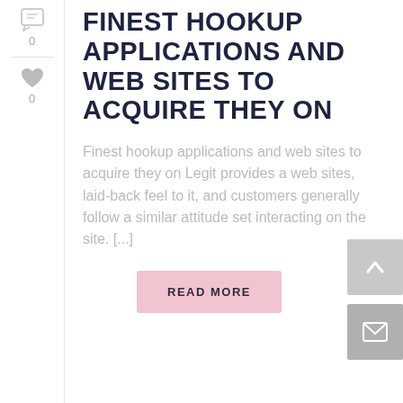[Figure (other): Comment bubble icon with count 0]
[Figure (other): Heart/like icon with count 0]
FINEST HOOKUP APPLICATIONS AND WEB SITES TO ACQUIRE THEY ON
Finest hookup applications and web sites to acquire they on Legit provides a web sites, laid-back feel to it, and customers generally follow a similar attitude set interacting on the site. [...]
READ MORE